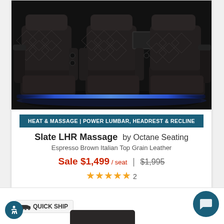[Figure (photo): Three dark espresso brown leather home theater recliners with diamond quilted stitching, LED blue accent lighting underneath, and power headrests. Center seat has a tray table extended.]
HEAT & MASSAGE | POWER LUMBAR, HEADREST & RECLINE
Slate LHR Massage  by Octane Seating
Espresso Brown Italian Top Grain Leather
Sale $1,499 / seat  |  $1,995
★★★★★ 2
QUICK SHIP